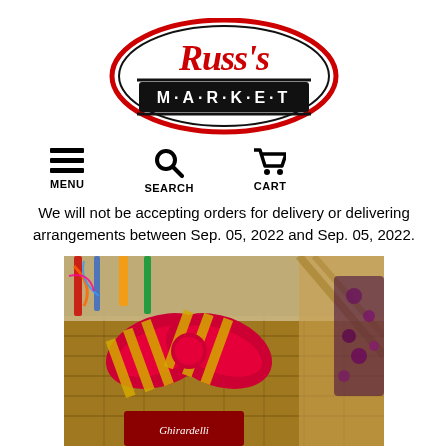[Figure (logo): Russ's Market logo — oval shape with red cursive 'Russ's' text and black rectangular banner reading 'M·A·R·K·E·T']
[Figure (infographic): Navigation icons row: hamburger menu icon labeled MENU, magnifying glass icon labeled SEARCH, shopping cart icon labeled CART]
We will not be accepting orders for delivery or delivering arrangements between Sep. 05, 2022 and Sep. 05, 2022.
[Figure (photo): Gift basket with gold and red striped bow, wicker basket, Ghirardelli chocolates, colorful streamers and decorations]